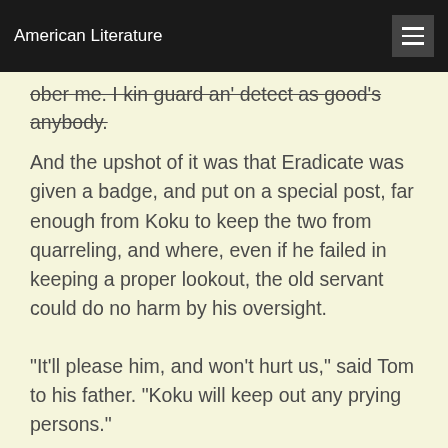American Literature
ober me. I kin guard an' detect as good's anybody.
And the upshot of it was that Eradicate was given a badge, and put on a special post, far enough from Koku to keep the two from quarreling, and where, even if he failed in keeping a proper lookout, the old servant could do no harm by his oversight.
"It'll please him, and won't hurt us," said Tom to his father. "Koku will keep out any prying persons."